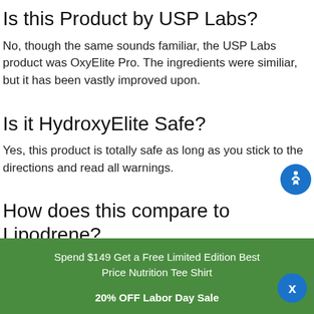Is this Product by USP Labs?
No, though the same sounds familiar, the USP Labs product was OxyElite Pro. The ingredients were similiar, but it has been vastly improved upon.
Is it HydroxyElite Safe?
Yes, this product is totally safe as long as you stick to the directions and read all warnings.
How does this compare to Lipodrene?
We mentioned this above, but Lipodrene doesn't have DMHA in it, but it does have Ephedra. We have reviewed products like this and it seems to be stronger...
Spend $149 Get a Free Limited Edition Best Price Nutrition Tee Shirt
20% OFF Labor Day Sale